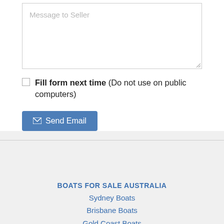[Figure (screenshot): Message to Seller textarea input field with placeholder text, resize handle in bottom-right corner]
Fill form next time (Do not use on public computers)
[Figure (screenshot): Send Email button with envelope icon]
BOATS FOR SALE AUSTRALIA
Sydney Boats
Brisbane Boats
Gold Coast Boats
Sunshine Coast Boats